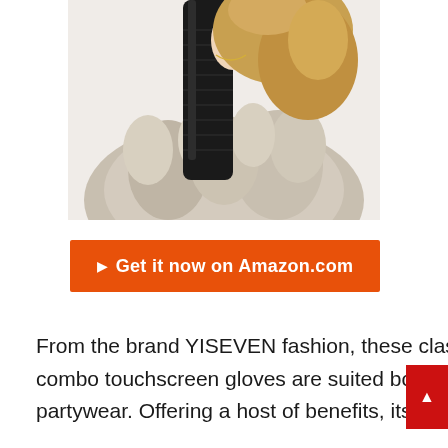[Figure (photo): Woman wearing a black long leather glove raised to her face, wearing a fur coat. Blonde hair. Fashion product photo on white background.]
🛒  Get it now on Amazon.com
From the brand YISEVEN fashion, these classical and fas... combo touchscreen gloves are suited both for casual and partywear. Offering a host of benefits, its prime focus rests on